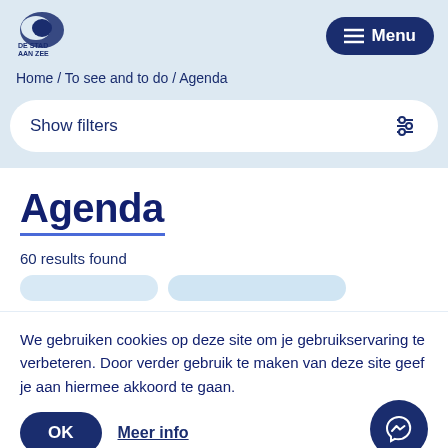[Figure (logo): Ostend city logo with DE STAD AAN ZEE text]
Menu
Home / To see and to do / Agenda
Show filters
Agenda
60 results found
We gebruiken cookies op deze site om je gebruikservaring te verbeteren. Door verder gebruik te maken van deze site geef je aan hiermee akkoord te gaan.
OK
Meer info